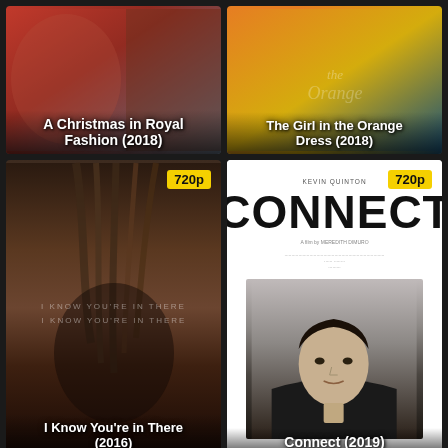[Figure (photo): Movie poster: A Christmas in Royal Fashion (2018), warm Christmas-themed background with red tones]
A Christmas in Royal Fashion (2018)
[Figure (photo): Movie poster: The Girl in the Orange Dress (2018), orange and blue gradient background with text]
The Girl in the Orange Dress (2018)
[Figure (photo): Movie poster: I Know You're in There (2016), dark horror poster showing woman's face with hair covering eyes, badge 720p]
I Know You're in There (2016)
[Figure (photo): Movie poster: Connect (2019), white background with large CONNECT text and man's portrait, badge 720p]
Connect (2019)
[Figure (photo): Movie poster: The Bad Sleep Well, black background with stylized white and red text, badge 720p]
[Figure (photo): Movie poster: Hindi film, red dramatic background with man in blue shirt and sunglasses, badge HINDI]